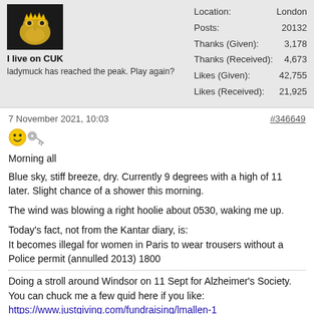[Figure (photo): User avatar showing a frog or toad cartoon image on dark background]
I live on CUK
ladymuck has reached the peak. Play again?
| Location: | London |
| Posts: | 20132 |
| Thanks (Given): | 3,178 |
| Thanks (Received): | 4,673 |
| Likes (Given): | 42,755 |
| Likes (Received): | 21,925 |
7 November 2021, 10:03
#346649
[Figure (illustration): Smiley face emoji with a key emoji]
Morning all
Blue sky, stiff breeze, dry. Currently 9 degrees with a high of 11 later. Slight chance of a shower this morning.
The wind was blowing a right hoolie about 0530, waking me up.
Today's fact, not from the Kantar diary, is:
It becomes illegal for women in Paris to wear trousers without a Police permit (annulled 2013) 1800
Doing a stroll around Windsor on 11 Sept for Alzheimer's Society. You can chuck me a few quid here if you like:
https://www.justgiving.com/fundraising/lmallen-1